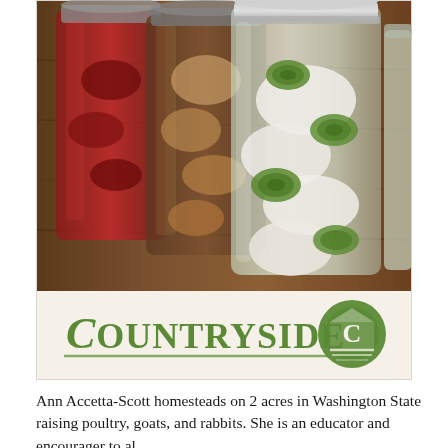[Figure (photo): Photo of mason jars filled with pickled vegetables (jalapeños, onions, etc.) on a wooden surface, with a Countryside magazine logo at the bottom of the image.]
Ann Accetta-Scott homesteads on 2 acres in Washington State raising poultry, goats, and rabbits. She is an educator and encourager to al…